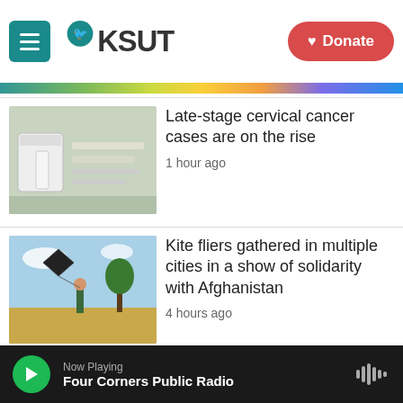KSUT
[Figure (photo): Medical supplies — vials and packaging on a surface]
Late-stage cervical cancer cases are on the rise
1 hour ago
[Figure (photo): Person flying a kite in a field]
Kite fliers gathered in multiple cities in a show of solidarity with Afghanistan
4 hours ago
[Figure (photo): Dan Levy portrait]
'Schitt's Creek' star Dan Levy joins the 'Sex Education' cast in
Now Playing — Four Corners Public Radio